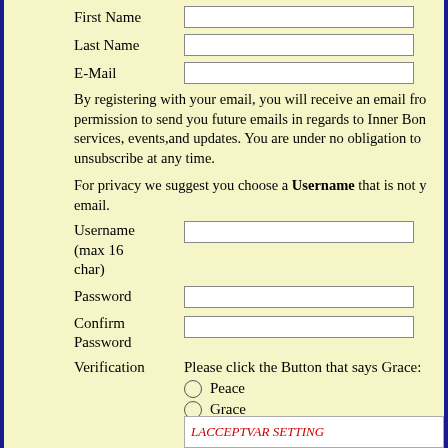First Name [input field]
Last Name [input field]
E-Mail [input field]
By registering with your email, you will receive an email from permission to send you future emails in regards to Inner Bonding services, events,and updates. You are under no obligation to accept and can unsubscribe at any time.
For privacy we suggest you choose a Username that is not your email.
Username (max 16 char) [input field]
Password [input field]
Confirm Password [input field]
Verification Please click the Button that says Grace:
Peace
Grace
Inner Bonding